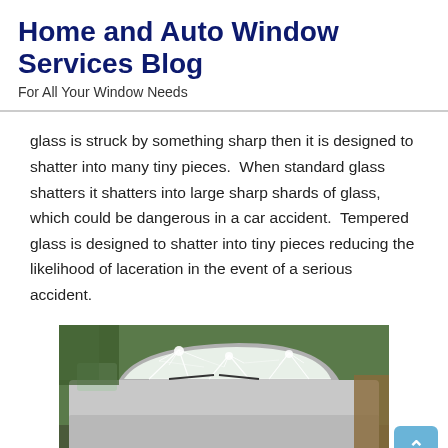Home and Auto Window Services Blog
For All Your Window Needs
glass is struck by something sharp then it is designed to shatter into many tiny pieces.  When standard glass shatters it shatters into large sharp shards of glass, which could be dangerous in a car accident.  Tempered glass is designed to shatter into tiny pieces reducing the likelihood of laceration in the event of a serious accident.
[Figure (photo): A car with a severely shattered windshield, showing cracked and broken tempered glass in a spider-web pattern across the entire windshield.]